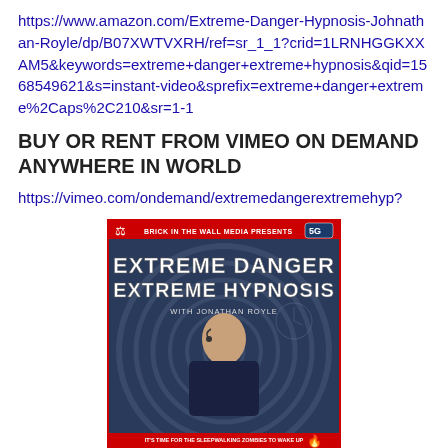https://www.amazon.com/Extreme-Danger-Hypnosis-Johnathan-Royle/dp/B07XWTVXRH/ref=sr_1_1?crid=1LRNHGGKXXAM5&keywords=extreme+danger+extreme+hypnosis&qid=1568549621&s=instant-video&sprefix=extreme+danger+extreme%2Caps%2C210&sr=1-1
BUY OR RENT FROM VIMEO ON DEMAND ANYWHERE IN WORLD
https://vimeo.com/ondemand/extremedangerextremehyp?
[Figure (photo): Movie poster for 'Extreme Danger Extreme Hypnosis with Jonathan Royle' presented by Brick in the Wall Media. Features a bald man with a microphone headset in front of a hypnotic spiral background with Big Ben. Text reads 'It's time for the sleepwalking zombies to wake up'. 5G logo and scales of justice icon visible.]